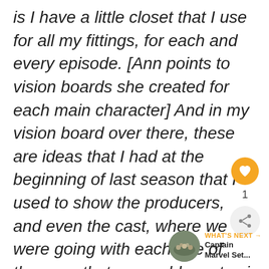is I have a little closet that I use for all my fittings, for each and every episode. [Ann points to vision boards she created for each main character] And in my vision board over there, these are ideas that I had at the beginning of last season that I used to show the producers, and even the cast, where we were going with each one of them. so that we could create si really strong identifiable characters."
[Figure (other): Heart/like button (orange circle with white heart icon), like count '1', and share button (light gray circle with share icon)]
[Figure (other): What's Next promo widget with thumbnail photo (group of people) and text 'WHAT'S NEXT → Captain Marvel Set...']